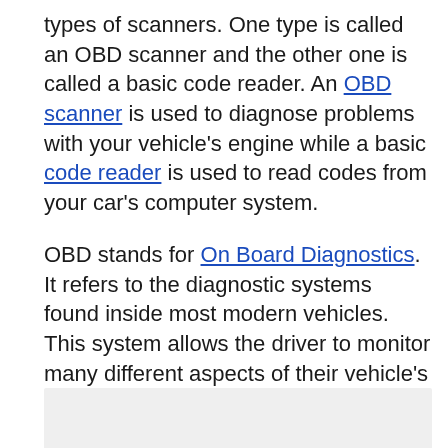types of scanners. One type is called an OBD scanner and the other one is called a basic code reader. An OBD scanner is used to diagnose problems with your vehicle's engine while a basic code reader is used to read codes from your car's computer system.
OBD stands for On Board Diagnostics. It refers to the diagnostic systems found inside most modern vehicles. This system allows the driver to monitor many different aspects of their vehicle's performance.
[Figure (other): Light gray placeholder image block at the bottom of the page]